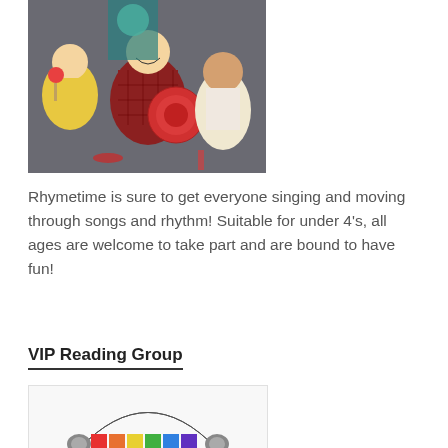[Figure (photo): Children playing with musical instruments including a tambourine, smiling and having fun indoors]
Rhymetime is sure to get everyone singing and moving through songs and rhythm! Suitable for under 4's, all ages are welcome to take part and are bound to have fun!
VIP Reading Group
[Figure (photo): Headphones with colorful rainbow-colored keyboard/xylophone keys visible beneath the headband]